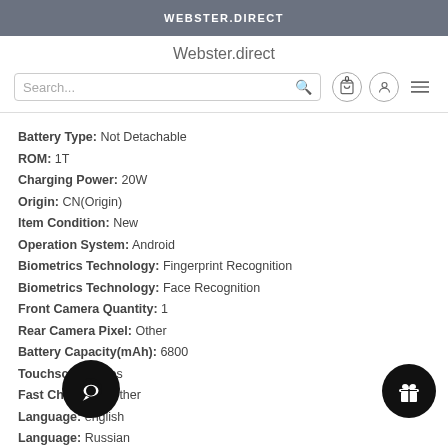WEBSTER.DIRECT
Webster.direct
Battery Type: Not Detachable
ROM: 1T
Charging Power: 20W
Origin: CN(Origin)
Item Condition: New
Operation System: Android
Biometrics Technology: Fingerprint Recognition
Biometrics Technology: Face Recognition
Front Camera Quantity: 1
Rear Camera Pixel: Other
Battery Capacity(mAh): 6800
Touchscreen: Yes
Fast Charging: Other
Language: english
Language: Russian
Language: German